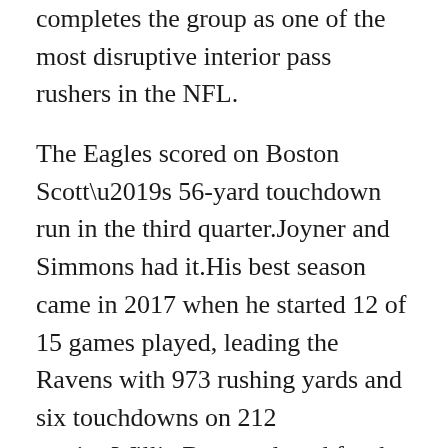completes the group as one of the most disruptive interior pass rushers in the NFL.
The Eagles scored on Boston Scott’s 56-yard touchdown run in the third quarter.Joyner and Simmons had it.His best season came in 2017 when he started 12 of 15 games played, leading the Ravens with 973 rushing yards and six touchdowns on 212 carries.Willie Brown played for the Raiders from 1967 and was inducted into the Hall of Fame in 1984.
Our confidence is not going to waiver.Howard ran the ball well in this game and, as Doug Pederson said on Monday, he will likely get the majority of the carries moving forward .He just had some problems in his career to establish that where it wasn’t recognized by the rest of the people around the league, but he’s a marvelous guy to